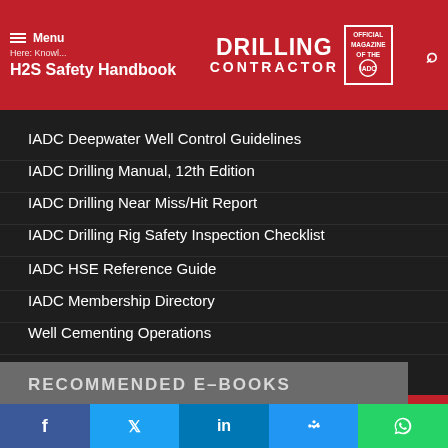Drilling Contractor — Official Magazine of the IADC
H2S Safety Handbook
IADC Deepwater Well Control Guidelines
IADC Drilling Manual, 12th Edition
IADC Drilling Near Miss/Hit Report
IADC Drilling Rig Safety Inspection Checklist
IADC HSE Reference Guide
IADC Membership Directory
Well Cementing Operations
RECOMMENDED E-BOOKS
IADC DC Managed Pressure Drilling